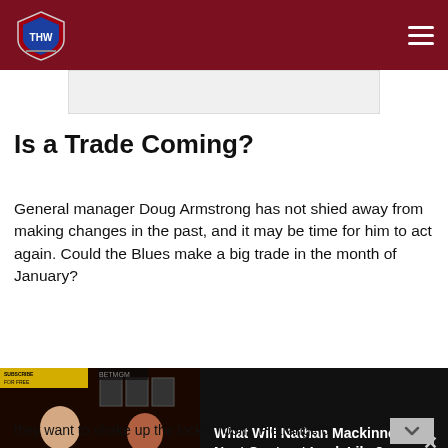THW - The Hockey Writers
Is a Trade Coming?
General manager Doug Armstrong has not shied away from making changes in the past, and it may be time for him to act again. Could the Blues make a big trade in the month of January?
[Figure (screenshot): Video player overlay showing two men in a podcast/studio setting, with title 'What Will Nathan Mackinnon's Next Contract Look Like?']
they want to shake up the locker room. Pietrangelo